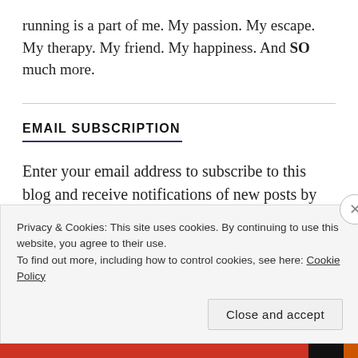running is a part of me. My passion. My escape. My therapy. My friend. My happiness. And SO much more.
EMAIL SUBSCRIPTION
Enter your email address to subscribe to this blog and receive notifications of new posts by email.
Privacy & Cookies: This site uses cookies. By continuing to use this website, you agree to their use.
To find out more, including how to control cookies, see here: Cookie Policy
Close and accept